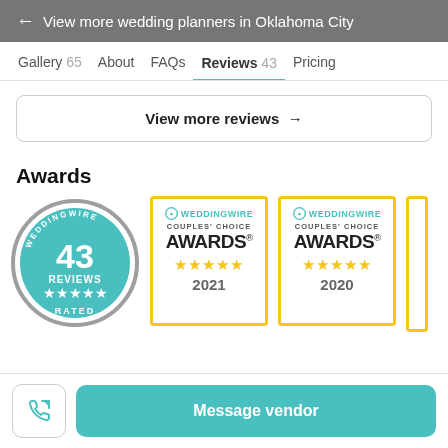← View more wedding planners in Oklahoma City
Gallery 65  About  FAQs  Reviews 43  Pricing
View more reviews →
Awards
[Figure (logo): WeddingWire circular badge: 43 REVIEWS, 5 stars, RATED]
[Figure (logo): WeddingWire Couples' Choice AWARDS® badge with 5 gold stars, year 2021]
[Figure (logo): WeddingWire Couples' Choice AWARDS® badge with 5 gold stars, year 2020]
Message vendor